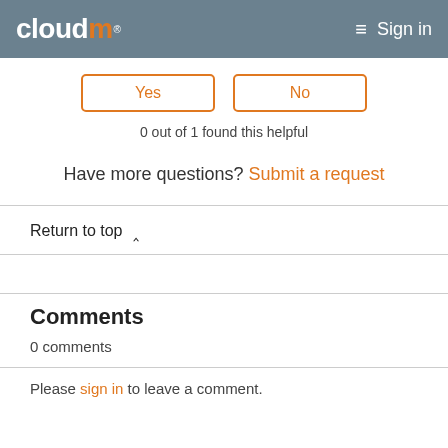cloudm® Sign in
Yes   No
0 out of 1 found this helpful
Have more questions? Submit a request
Return to top ^
Comments
0 comments
Please sign in to leave a comment.